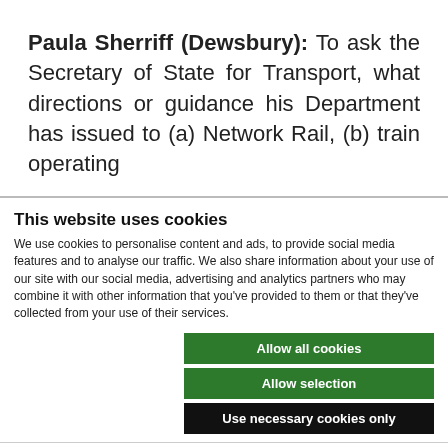Paula Sherriff (Dewsbury): To ask the Secretary of State for Transport, what directions or guidance his Department has issued to (a) Network Rail, (b) train operating
This website uses cookies
We use cookies to personalise content and ads, to provide social media features and to analyse our traffic. We also share information about your use of our site with our social media, advertising and analytics partners who may combine it with other information that you've provided to them or that they've collected from your use of their services.
Allow all cookies
Allow selection
Use necessary cookies only
Necessary | Preferences | Statistics | Marketing | Show details